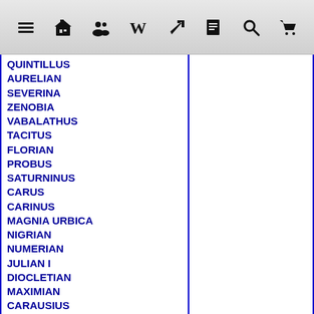Navigation toolbar with menu, home, users, Wikipedia, link, document, search, cart icons
QUINTILLUS
AURELIAN
SEVERINA
ZENOBIA
VABALATHUS
TACITUS
FLORIAN
PROBUS
SATURNINUS
CARUS
CARINUS
MAGNIA URBICA
NIGRIAN
NUMERIAN
JULIAN I
DIOCLETIAN
MAXIMIAN
CARAUSIUS
ALLECTUS
DOMITIUS DOMITIANUS
CONSTANTIUS I
THEODORA
GALERIUS
GALERIA VALERIA
SEVERUS II